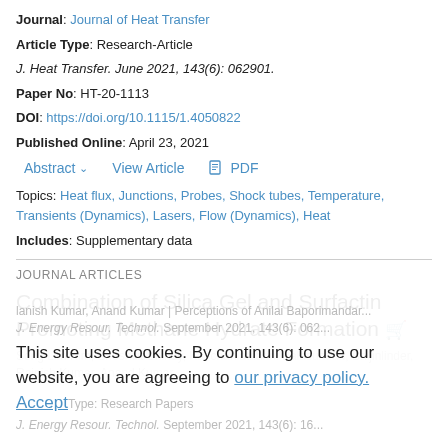Journal: Journal of Heat Transfer
Article Type: Research-Article
J. Heat Transfer. June 2021, 143(6): 062901.
Paper No: HT-20-1113
DOI: https://doi.org/10.1115/1.4050822
Published Online: April 23, 2021
Abstract  View Article  PDF
Topics: Heat flux, Junctions, Probes, Shock tubes, Temperature, Transients (Dynamics), Lasers, Flow (Dynamics), Heat
Includes: Supplementary data
JOURNAL ARTICLES
Combination of Silica Gel and Surfactin Promoting Methane Hydrate Formation
This site uses cookies. By continuing to use our website, you are agreeing to our privacy policy. Accept